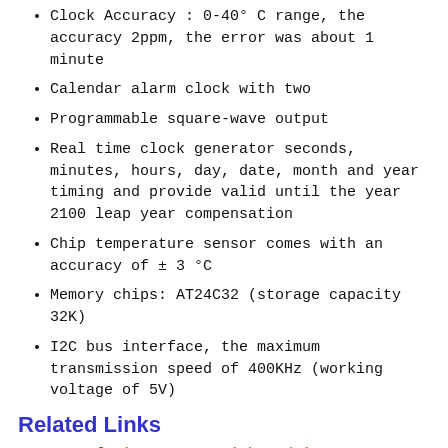Clock Accuracy : 0-40 °C range, the accuracy 2ppm, the error was about 1 minute
Calendar alarm clock with two
Programmable square-wave output
Real time clock generator seconds, minutes, hours, day, date, month and year timing and provide valid until the year 2100 leap year compensation
Chip temperature sensor comes with an accuracy of ± 3 °C
Memory chips: AT24C32 (storage capacity 32K)
I2C bus interface, the maximum transmission speed of 400KHz (working voltage of 5V)
Related Links
Interfacing DS3231 with Arduino